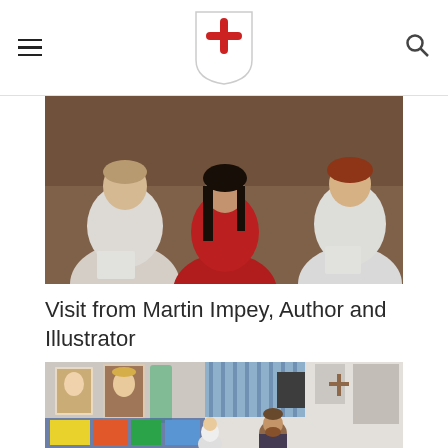Navigation header with hamburger menu, school shield logo, and search icon
[Figure (photo): Students sitting with backs to camera in a hall, writing on papers. One student in red top, others in white shirts.]
Visit from Martin Impey, Author and Illustrator
[Figure (photo): School hall interior with artwork on walls including portraits, a presenter (man with beard) standing in front of children. Colorful display boards visible.]